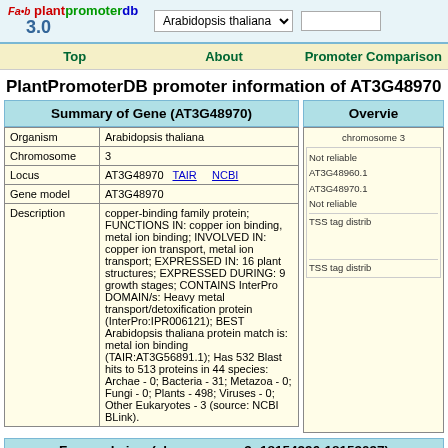plantpromoterdb 3.0 | Arabidopsis thaliana
Top | About | Promoter Comparison
PlantPromoterDB promoter information of AT3G48970
Summary of Gene (AT3G48970)
|  |  |
| --- | --- |
| Organism | Arabidopsis thaliana |
| Chromosome | 3 |
| Locus | AT3G48970  TAIR      NCBI |
| Gene model | AT3G48970 |
| Description | copper-binding family protein; FUNCTIONS IN: copper ion binding, metal ion binding; INVOLVED IN: copper ion transport, metal ion transport; EXPRESSED IN: 16 plant structures; EXPRESSED DURING: 9 growth stages; CONTAINS InterPro DOMAIN/s: Heavy metal transport/detoxification protein (InterPro:IPR006121); BEST Arabidopsis thaliana protein match is: metal ion binding (TAIR:AT3G56891.1); Has 532 Blast hits to 513 proteins in 44 species: Archae - 0; Bacteria - 31; Metazoa - 0; Fungi - 0; Plants - 498; Viruses - 0; Other Eukaryotes - 3 (source: NCBI BLink). |
Overview
chromosome 3
Not reliable
AT3G48960.1
AT3G48970.1
Not reliable
TSS tag distrib
TSS tag distrib
Focused view (chromosome 3: 18154296-18153097)